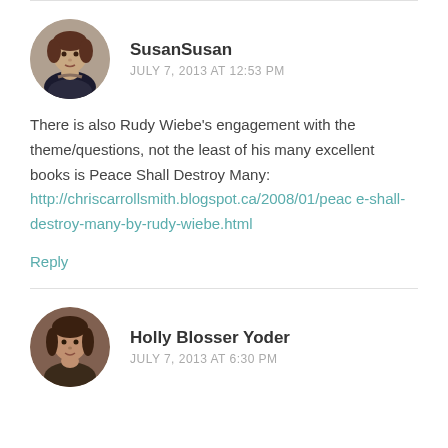[Figure (photo): Circular avatar photo of SusanSusan, a woman with brown hair]
SusanSusan
JULY 7, 2013 AT 12:53 PM
There is also Rudy Wiebe's engagement with the theme/questions, not the least of his many excellent books is Peace Shall Destroy Many: http://chriscarrollsmith.blogspot.ca/2008/01/peace-shall-destroy-many-by-rudy-wiebe.html
Reply
[Figure (photo): Circular avatar photo of Holly Blosser Yoder, a woman with dark hair]
Holly Blosser Yoder
JULY 7, 2013 AT 6:30 PM